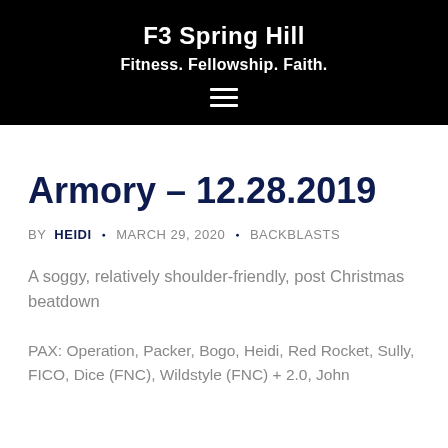F3 Spring Hill
Fitness. Fellowship. Faith.
Armory – 12.28.2019
BY HEIDI · MARCH 29, 2020 · BACKBLASTS
A soggy, relatively shoulder-friendly, post Christmas beatdown
PAX: Operation, Packer, Bogo, Heidi, Red Rocket, Sully, FICO, Dice (FNC), Wildstyle (FNC) + 2.0, John